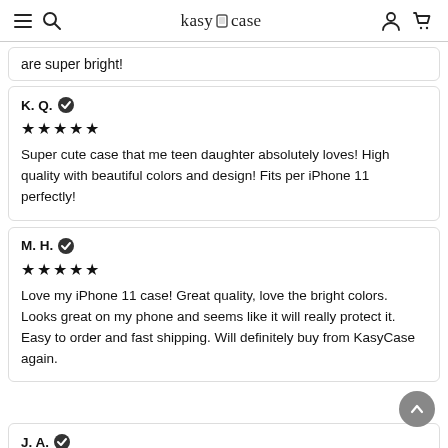kasy case
are super bright!
K. Q. ✔
★★★★★
Super cute case that me teen daughter absolutely loves! High quality with beautiful colors and design! Fits per iPhone 11 perfectly!
M. H. ✔
★★★★★
Love my iPhone 11 case! Great quality, love the bright colors. Looks great on my phone and seems like it will really protect it. Easy to order and fast shipping. Will definitely buy from KasyCase again.
J. A. ✔